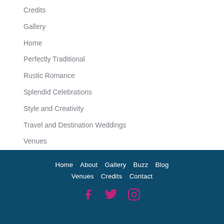Credits
Gallery
Home
Perfectly Traditional
Rustic Romance
Splendid Celebrations
Style and Creativity
Travel and Destination Weddings
Venues
Home   About   Gallery   Buzz   Blog   Venues   Credits   Contact